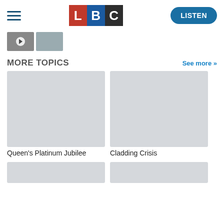[Figure (logo): LBC radio logo with L in red, B in blue, C in dark/black blocks]
[Figure (screenshot): Small thumbnail strip showing a video thumbnail with play button and a grey image]
MORE TOPICS
See more >>
[Figure (photo): Placeholder grey image for Queen's Platinum Jubilee topic]
Queen's Platinum Jubilee
[Figure (photo): Placeholder grey image for Cladding Crisis topic]
Cladding Crisis
[Figure (photo): Partial placeholder grey image at bottom left]
[Figure (photo): Partial placeholder grey image at bottom right]